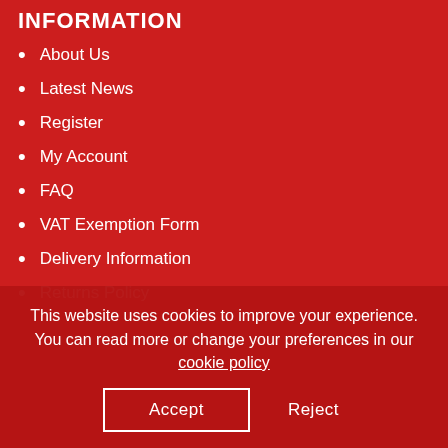INFORMATION
About Us
Latest News
Register
My Account
FAQ
VAT Exemption Form
Delivery Information
Returns Policy
This website uses cookies to improve your experience. You can read more or change your preferences in our cookie policy
Accept
Reject